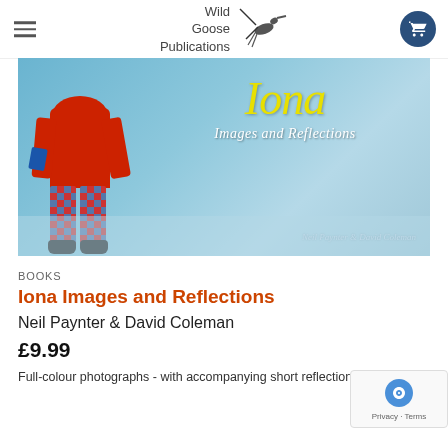Wild Goose Publications
[Figure (photo): Book cover of 'Iona Images and Reflections' by Neil Paynter & David Coleman. Shows a child in a red hoodie and red-blue checkered trousers standing on a beach. The title 'Iona' is written in yellow cursive script with 'Images and Reflections' in white below it. Authors' names appear at bottom right.]
BOOKS
Iona Images and Reflections
Neil Paynter & David Coleman
£9.99
Full-colour photographs - with accompanying short reflections.